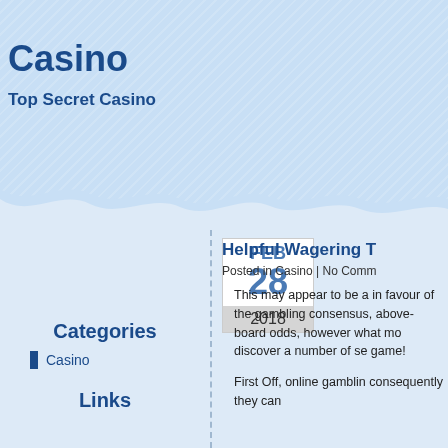Casino
Top Secret Casino
[Figure (illustration): Light blue textured wavy header banner with cloud/wave bottom edge]
Categories
Casino
Links
FEB 28 2018
Helpful Wagering T
Posted in Casino | No Comm
This may appear to be a in favour of the gambling consensus, above-board odds, however what mo discover a number of se game!
First Off, online gamblin consequently they can